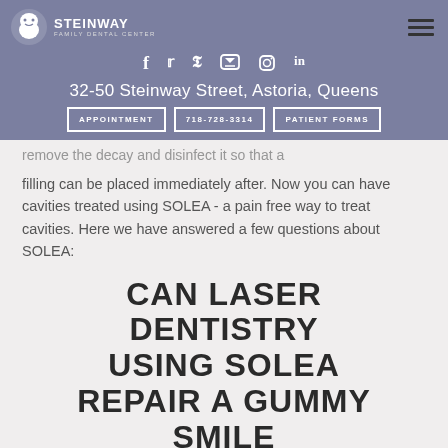STEINWAY FAMILY DENTAL CENTER
32-50 Steinway Street, Astoria, Queens
APPOINTMENT | 718-728-3314 | PATIENT FORMS
remove the decay and disinfect it so that a filling can be placed immediately after. Now you can have cavities treated using SOLEA - a pain free way to treat cavities. Here we have answered a few questions about SOLEA:
CAN LASER DENTISTRY USING SOLEA REPAIR A GUMMY SMILE